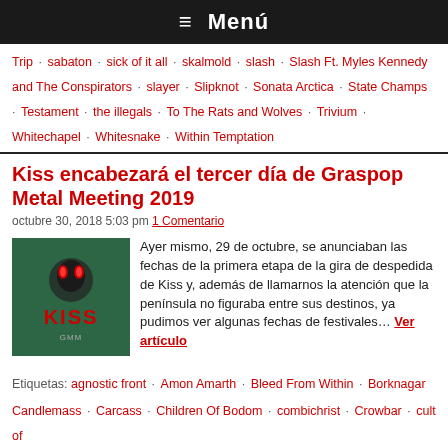≡ Menú
Trip · sabaton · sick of it all · skalmold · slash · Slash Ft. Myles Kennedy and The Conspirators · slayer · Slipknot · Sonata Arctica · State Champs · Testament · the illegals · To The Rats and Wolves · Trivium · Whitechapel · Whitesnake · Within Temptation
Kiss encabezará el tercer día de Graspop Metal Meeting 2019
octubre 30, 2018 5:03 pm 1 Comentario
[Figure (photo): KISS band logo promo image on dark green/teal background]
Ayer mismo, 29 de octubre, se anunciaban las fechas de la primera etapa de la gira de despedida de Kiss y, además de llamarnos la atención que la península no figuraba entre sus destinos, ya pudimos ver algunas fechas de festivales… Ver artículo
Etiquetas: agnostic front · Amon Amarth · Bleed From Within · Borknagar
Candlemass · Carcass · Children Of Bodom · combichrist · Crowbar · cult of